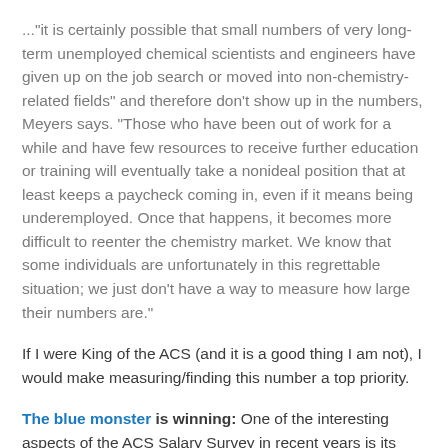..."it is certainly possible that small numbers of very long-term unemployed chemical scientists and engineers have given up on the job search or moved into non-chemistry-related fields" and therefore don't show up in the numbers, Meyers says. "Those who have been out of work for a while and have few resources to receive further education or training will eventually take a nonideal position that at least keeps a paycheck coming in, even if it means being underemployed. Once that happens, it becomes more difficult to reenter the chemistry market. We know that some individuals are unfortunately in this regrettable situation; we just don't have a way to measure how large their numbers are."
If I were King of the ACS (and it is a good thing I am not), I would make measuring/finding this number a top priority.
The blue monster is winning: One of the interesting aspects of the ACS Salary Survey in recent years is its focus on how chemist wages losing ground against inflation. This